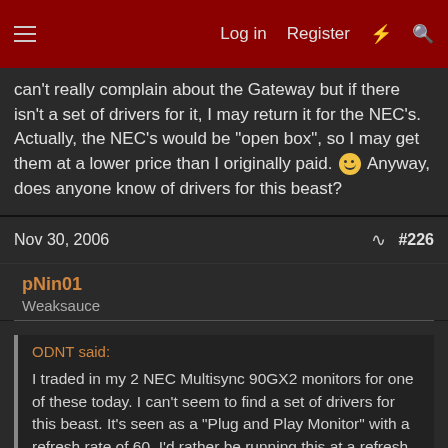Log in  Register
can't really complain about the Gateway but if there isn't a set of drivers for it, I may return it for the NEC's. Actually, the NEC's would be "open box", so I may get them at a lower price than I originally paid. 🙂 Anyway, does anyone know of drivers for this beast?
Nov 30, 2006  #226
pNin01
Weaksauce
ODNT said:
I traded in my 2 NEC Multisync 90GX2 monitors for one of these today. I can't seem to find a set of drivers for this beast. It's seen as a "Plug and Play Monitor" with a refresh rate of 60. I'd rather be running this at a refresh rate of 72 or 75. I can't really complain about the Gateway but if there isn't a set of drivers for it, I may return it for the NEC's. Actually, the NEC's would be "open box", so I may get them at a lower price than I originally paid. 🙂